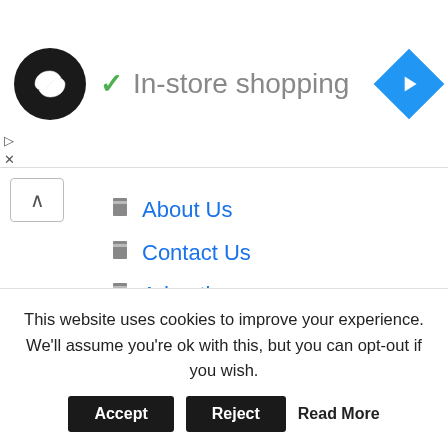[Figure (logo): Dark circular logo with infinity-like symbol and green checkmark next to 'In-store shopping' text, blue navigation diamond icon on the right]
About Us
Contact Us
Advertise
Subscribe
[Figure (infographic): Black rounded rectangle badge showing a red circle with pedestrian icon and the number 7 in white]
Weather widget by Willy Weather
This website uses cookies to improve your experience. We'll assume you're ok with this, but you can opt-out if you wish.
Accept  Reject  Read More